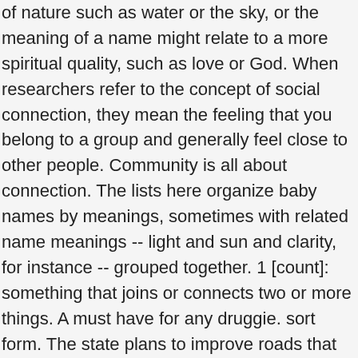of nature such as water or the sky, or the meaning of a name might relate to a more spiritual quality, such as love or God. When researchers refer to the concept of social connection, they mean the feeling that you belong to a group and generally feel close to other people. Community is all about connection. The lists here organize baby names by meanings, sometimes with related name meanings -- light and sun and clarity, for instance -- grouped together. 1 [count]: something that joins or connects two or more things. A must have for any druggie. sort form. The state plans to improve roads that serve as connections between major highways. There's also the factor of bandwidth limiting the connection. Find more ways to say connection, along with related words, antonyms and example phrases at Thesaurus.com, the world's most trusted free thesaurus. When the emotional connection between you two is reciprocal, talking about each otherâ€™s feelings will be extremely pleasant and easy. Learner's definition of CONNECTION. When you have a strong connection with someone, you feel comfortable being your real self. Definition - What does Secure Connection mean? connection